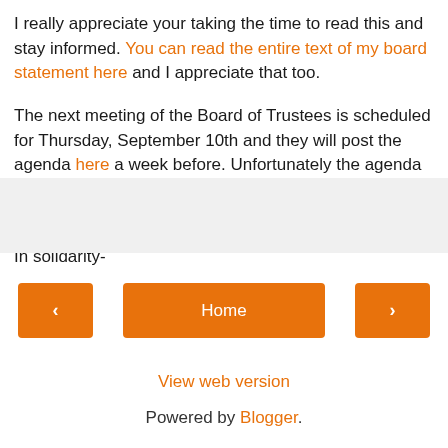I really appreciate your taking the time to read this and stay informed. You can read the entire text of my board statement here and I appreciate that too.
The next meeting of the Board of Trustees is scheduled for Thursday, September 10th and they will post the agenda here a week before. Unfortunately the agenda for this past meeting is no longer available on the Board website.
In solidarity-
Rich Wolfson, President-AFT Local 1904
Home | View web version | Powered by Blogger.